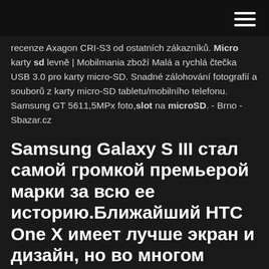[navigation bar with hamburger menu]
recenze Axagon CRI-S3 od ostatních zákazníků. Micro karty sd levně | Mobilmania zboží Malá a rychlá čtečka USB 3.0 pro karty micro-SD. Snadné zálohování fotografií a souborů z karty micro-SD tabletu/mobilního telefonu. Samsung GT 5611,5MPx foto,slot na microSD. - Brno - Sbazar.cz
Samsung Galaxy S III стал самой громкой премьерой марки за всю ее историю.Ближайший HTC One X имеет лучше экран и дизайн, но во многом проигрывает Galaxy S III – меньше работает, имеет